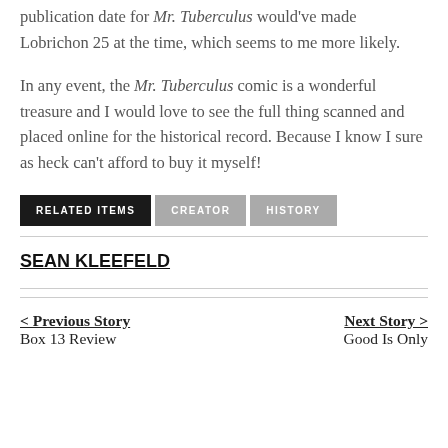publication date for Mr. Tuberculus would've made Lobrichon 25 at the time, which seems to me more likely.
In any event, the Mr. Tuberculus comic is a wonderful treasure and I would love to see the full thing scanned and placed online for the historical record. Because I know I sure as heck can't afford to buy it myself!
RELATED ITEMS | CREATOR | HISTORY
SEAN KLEEFELD
< Previous Story
Box 13 Review
Next Story >
Good Is Only